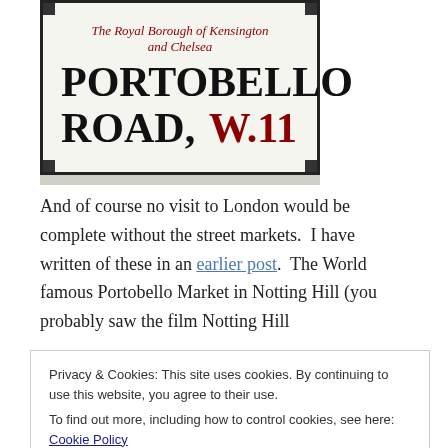[Figure (photo): Photo of a London street sign reading 'Portobello Road, W.11' with 'The Royal Borough of Kensington and Chelsea' written in red at the top, black border with corner accents, white background.]
And of course no visit to London would be complete without the street markets.  I have written of these in an earlier post.  The World famous Portobello Market in Notting Hill (you probably saw the film Notting Hill
Privacy & Cookies: This site uses cookies. By continuing to use this website, you agree to their use.
To find out more, including how to control cookies, see here: Cookie Policy